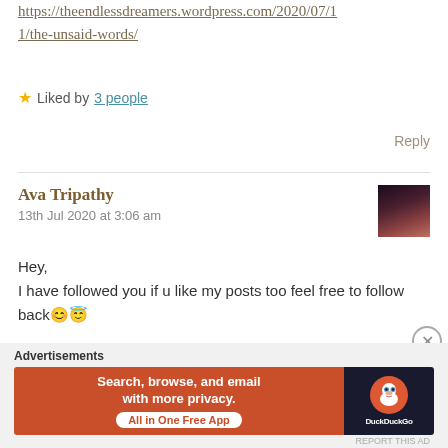https://theendlessdreamers.wordpress.com/2020/07/11/the-unsaid-words/
★ Liked by 3 people
Reply
Ava Tripathy
13th Jul 2020 at 3:06 am
Hey,
I have followed you if u like my posts too feel free to follow back😊😇
Advertisements
Search, browse, and email with more privacy. All in One Free App
DuckDuckGo